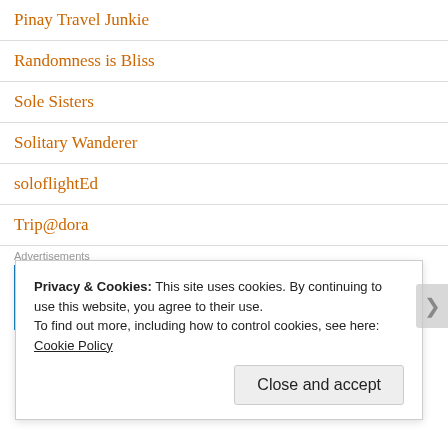Pinay Travel Junkie
Randomness is Bliss
Sole Sisters
Solitary Wanderer
soloflightEd
Trip@dora
Advertisements
[Figure (logo): WordPress logo on blue gradient banner advertisement]
Privacy & Cookies: This site uses cookies. By continuing to use this website, you agree to their use. To find out more, including how to control cookies, see here: Cookie Policy
Close and accept